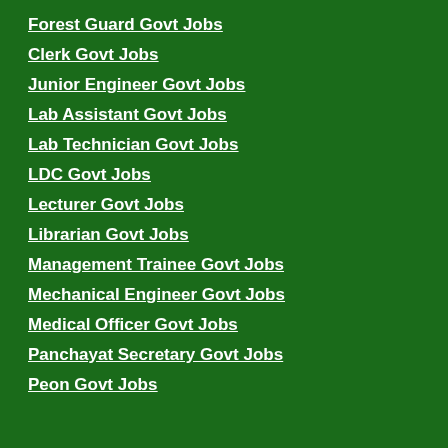Forest Guard Govt Jobs
Clerk Govt Jobs
Junior Engineer Govt Jobs
Lab Assistant Govt Jobs
Lab Technician Govt Jobs
LDC Govt Jobs
Lecturer Govt Jobs
Librarian Govt Jobs
Management Trainee Govt Jobs
Mechanical Engineer Govt Jobs
Medical Officer Govt Jobs
Panchayat Secretary Govt Jobs
Peon Govt Jobs